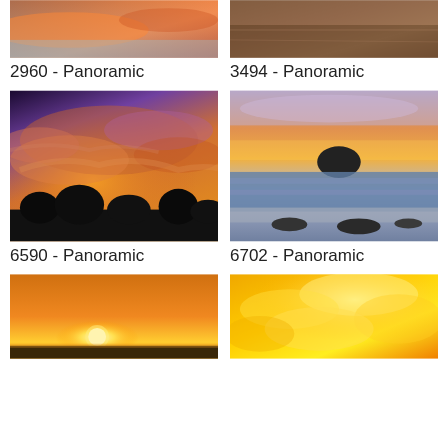[Figure (photo): Aerial or wide panoramic photo of colorful sky/water with orange and pink hues at sunset, cropped top portion]
2960 - Panoramic
[Figure (photo): Panoramic photo showing dark water or sand dunes with warm brownish tones, cropped top portion]
3494 - Panoramic
[Figure (photo): Panoramic sunset photo with dramatic orange and purple clouds over dark tree silhouettes]
6590 - Panoramic
[Figure (photo): Panoramic coastal sunset photo with rocks on beach, ocean waves, and purple-orange sky]
6702 - Panoramic
[Figure (photo): Panoramic sunset photo with bright yellow-orange sun setting over flat horizon with dark silhouette of land]
[Figure (photo): Panoramic photo of bright golden-yellow clouds illuminated by sunlight, saturated warm tones]